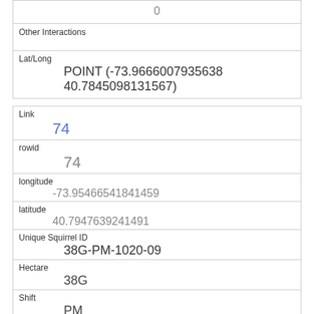| 0 |
| Other Interactions |  |
| Lat/Long | POINT (-73.9666007935638 40.7845098131567) |
| Link | 74 |
| rowid | 74 |
| longitude | -73.95466541841459 |
| latitude | 40.7947639241491 |
| Unique Squirrel ID | 38G-PM-1020-09 |
| Hectare | 38G |
| Shift | PM |